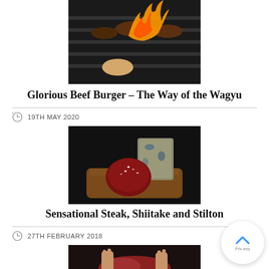[Figure (photo): Burgers cooking on a flame grill with fire visible]
Glorious Beef Burger – The Way of the Wagyu
19TH MAY 2020
[Figure (photo): A round steak with salt crust next to blue cheese on a wooden board]
Sensational Steak, Shiitake and Stilton
27TH FEBRUARY 2018
[Figure (photo): Hands preparing or cutting raw meat]